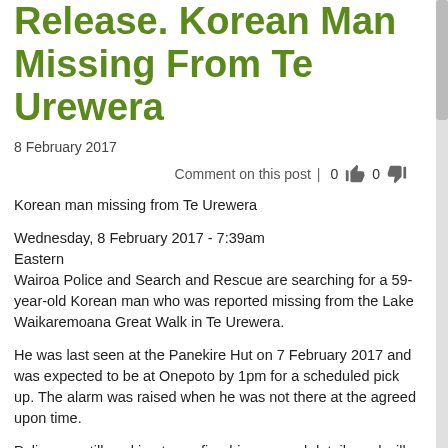NZ Police Press Release. Korean Man Missing From Te Urewera
8 February 2017
Comment on this post | 0 👍 0 👎
Korean man missing from Te Urewera
Wednesday, 8 February 2017 - 7:39am
Eastern
Wairoa Police and Search and Rescue are searching for a 59-year-old Korean man who was reported missing from the Lake Waikaremoana Great Walk in Te Urewera.
He was last seen at the Panekire Hut on 7 February 2017 and was expected to be at Onepoto by 1pm for a scheduled pick up. The alarm was raised when he was not there at the agreed upon time.
Police are still working to confirm his personal details and will advise these as soon as possible.
Police cannot yet rule out that he may have left the bush earlier than scheduled and hitch-hiked to a new location.